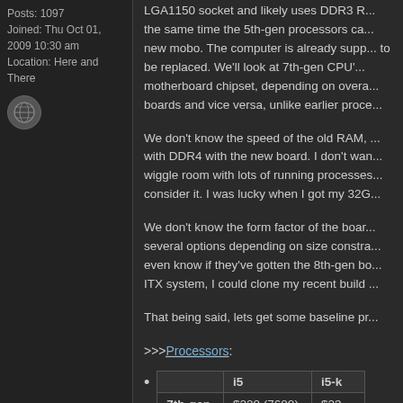Posts: 1097
Joined: Thu Oct 01, 2009 10:30 am
Location: Here and There
[Figure (illustration): Small circular avatar icon with a globe/web symbol]
LGA1150 socket and likely uses DDR3 R... the same time the 5th-gen processors ca... new mobo. The computer is already supp... to be replaced. We'll look at 7th-gen CPU'... motherboard chipset, depending on overa... boards and vice versa, unlike earlier proce...
We don't know the speed of the old RAM, ... with DDR4 with the new board. I don't wan... wiggle room with lots of running processes... consider it. I was lucky when I got my 32G...
We don't know the form factor of the boar... several options depending on size constra... even know if they've gotten the 8th-gen bo... ITX system, I could clone my recent build ...
That being said, lets get some baseline pr...
>>>Processors:
|  | i5 | i5-K |
| --- | --- | --- |
| 7th-gen | $220 (7600) | $23... |
| 8th-gen | $190 (8400) | $26... |